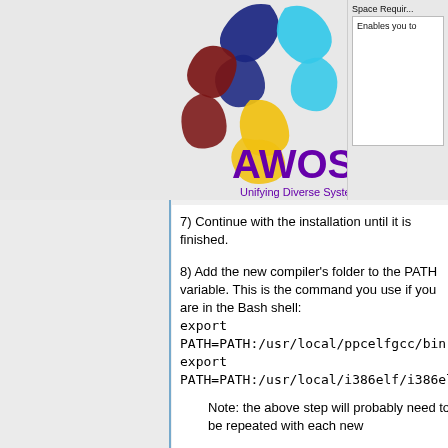[Figure (screenshot): AWOS installer screenshot showing Space Required panel and Enables you to... text box, with AWOS logo (swirling colored design with purple AWOS text and 'Unifying Diverse Systems' tagline) visible in the installer window]
7) Continue with the installation until it is finished.
8) Add the new compiler's folder to the PATH variable. This is the command you use if you are in the Bash shell:
export
PATH=PATH:/usr/local/ppcelfgcc/bin
export
PATH=PATH:/usr/local/i386elf/i386elf/bin
Note: the above step will probably need to be repeated with each new